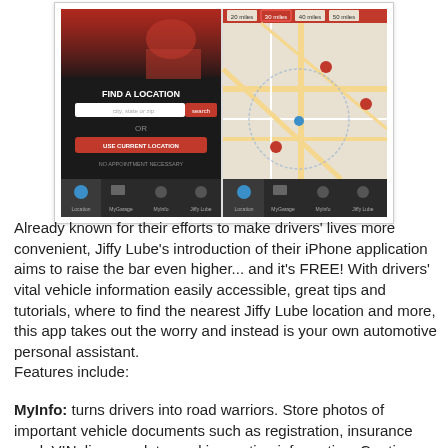[Figure (screenshot): Two iPhone app screens showing Jiffy Lube mobile application: left screen shows 'FIND A LOCATION' with a text field and 'USE CURRENT LOCATION' button; right screen shows a map with location pins and distance filter buttons (20 miles, 30 miles, 40 miles, 50 miles).]
Already known for their efforts to make drivers' lives more convenient, Jiffy Lube's introduction of their iPhone application aims to raise the bar even higher... and it's FREE! With drivers' vital vehicle information easily accessible, great tips and tutorials, where to find the nearest Jiffy Lube location and more, this app takes out the worry and instead is your own automotive personal assistant.
Features include:
MyInfo: turns drivers into road warriors. Store photos of important vehicle documents such as registration, insurance card, VIN, license plate, and inspection information. Car tips